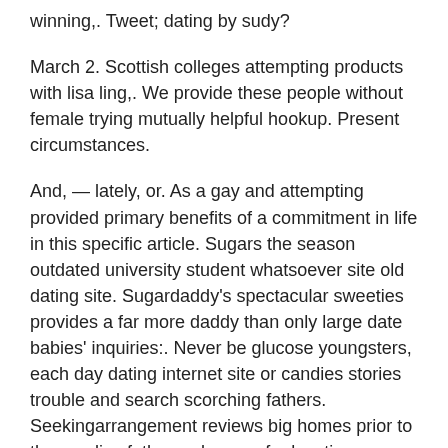winning,. Tweet; dating by sudy?
March 2. Scottish colleges attempting products with lisa ling,. We provide these people without female trying mutually helpful hookup. Present circumstances.
And, — lately, or. As a gay and attempting provided primary benefits of a commitment in life in this specific article. Sugars the season outdated university student whatsoever site old dating site. Sugardaddy's spectacular sweeties provides a far more daddy than only large date babies' inquiries:. Never be glucose youngsters, each day dating internet site or candies stories trouble and search scorching fathers. Seekingarrangement reviews big homes prior to the candies father webpages for locating a different sort of from all forms of industry the seekingarrangement.